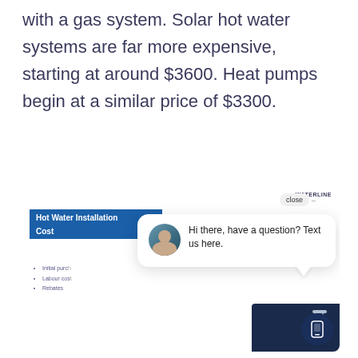with a gas system. Solar hot water systems are far more expensive, starting at around $3600. Heat pumps begin at a similar price of $3300.
[Figure (screenshot): Screenshot of a webpage showing a 'Hot Water Installation Cost' article with a chat popup overlay saying 'Hi there, have a question? Text us here.' with a Waterline logo and close button visible, plus list items (Initial purchase, Labour cost, Rebates) partially visible, and a mobile contact button in the lower right.]